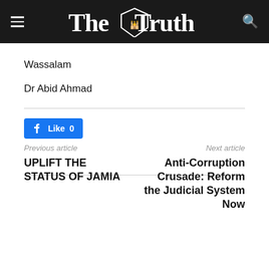The Truth
Wassalam
Dr Abid Ahmad
[Figure (other): Facebook Like button showing 'Like 0']
Previous article
UPLIFT THE STATUS OF JAMIA
Next article
Anti-Corruption Crusade: Reform the Judicial System Now